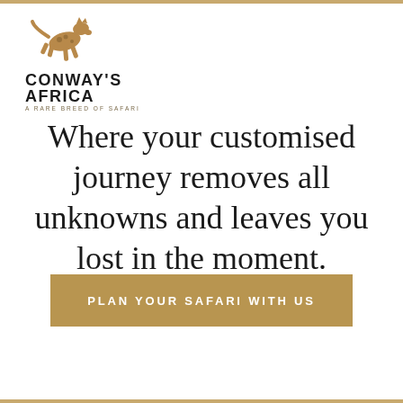[Figure (logo): Conway's Africa logo with leaping wild animal silhouette in tan/brown and text 'CONWAY'S AFRICA' with subtitle 'A RARE BREED OF SAFARI']
Where your customised journey removes all unknowns and leaves you lost in the moment.
PLAN YOUR SAFARI WITH US